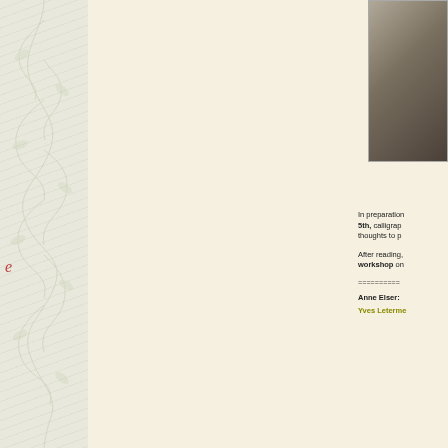[Figure (illustration): Left decorative panel with floral vine pattern and red italic letter 'e' repeated at intervals]
[Figure (photo): A dark portrait photograph in the upper right area]
In preparation 5th, calligraph thoughts to p
After reading, workshop on
==========
Anne Elser:
Yves Leterme